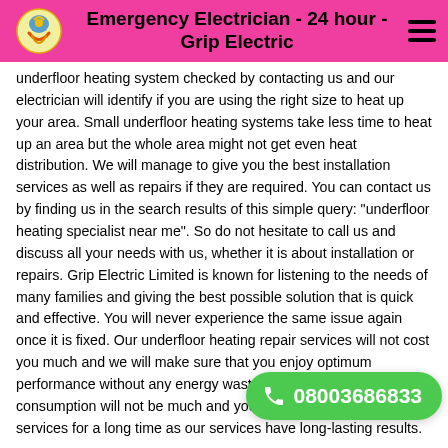Emergency Electrician - 24 hour - Grip Electric
underfloor heating system checked by contacting us and our electrician will identify if you are using the right size to heat up your area. Small underfloor heating systems take less time to heat up an area but the whole area might not get even heat distribution. We will manage to give you the best installation services as well as repairs if they are required. You can contact us by finding us in the search results of this simple query: "underfloor heating specialist near me". So do not hesitate to call us and discuss all your needs with us, whether it is about installation or repairs. Grip Electric Limited is known for listening to the needs of many families and giving the best possible solution that is quick and effective. You will never experience the same issue again once it is fixed. Our underfloor heating repair services will not cost you much and we will make sure that you enjoy optimum performance without any energy wastage. The energy consumption will not be much and you will be able to enjoy our services for a long time as our services have long-lasting results.
Electrical code in UK is which normally electrical systems and in electrical w using this electricians install electrical wiring and electrical systems circuit breakers are regulated by national electrical